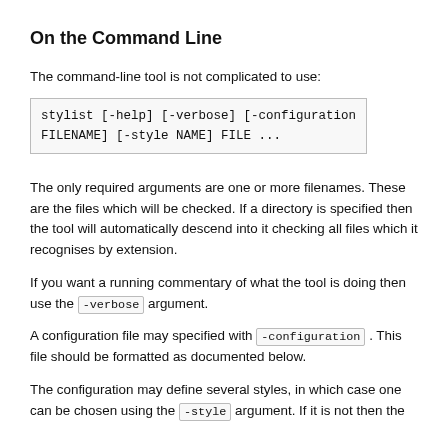On the Command Line
The command-line tool is not complicated to use:
The only required arguments are one or more filenames. These are the files which will be checked. If a directory is specified then the tool will automatically descend into it checking all files which it recognises by extension.
If you want a running commentary of what the tool is doing then use the -verbose argument.
A configuration file may specified with -configuration . This file should be formatted as documented below.
The configuration may define several styles, in which case one can be chosen using the -style argument. If it is not then the